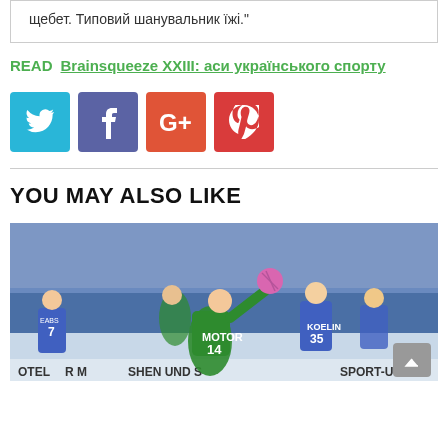щебет. Типовий шанувальник їжі."
READ  Brainsqueeze XXIII: аси українського спорту
[Figure (other): Social media share buttons: Twitter (cyan), Facebook (purple), Google+ (orange-red), Pinterest (red)]
YOU MAY ALSO LIKE
[Figure (photo): Handball match photo showing players in green (Motor #14) and blue-white uniforms, indoor arena with spectators, advertising boards visible at bottom]